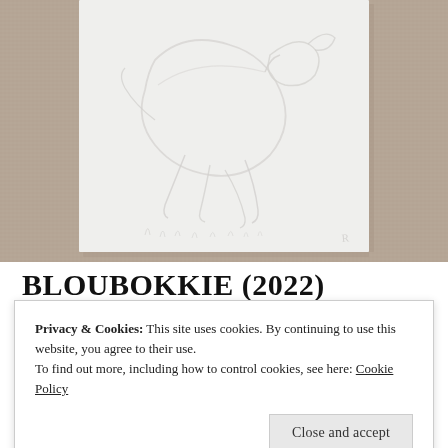[Figure (photo): A white ceramic or plaster relief tile showing an embossed animal figure (antelope/springbok in motion) against a linen/burlap textured background. The relief is white-on-white with subtle shadows revealing the sculpted lines.]
BLOUBOKKIE (2022)
Privacy & Cookies: This site uses cookies. By continuing to use this website, you agree to their use.
To find out more, including how to control cookies, see here: Cookie Policy